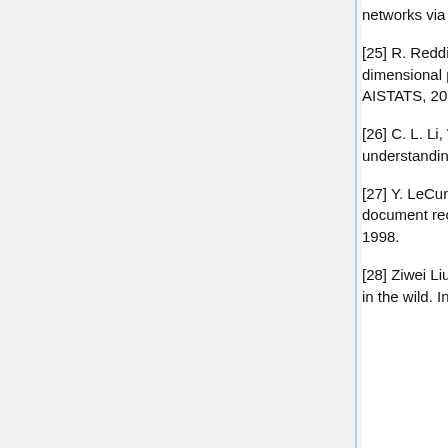networks via maximum mean discrepancy optimization. In UAI, 2015.
[25] R. Reddi, A. Ramdas, A. Singh, B. Poczos, and L. Wasserman. On the high-dimensional power of a linear-time two sample test under mean-shift alternatives. In AISTATS, 2015.
[26] C. L. Li, W. C. Chang, Y. Cheng, Y. Yang, and B. Poczos. Mmd gan: Towards deeper understanding of moment matching network, 2017.
[27] Y. LeCun, L. Bottou, Y. Bengio, and P. Haffner. Gradient-based learning applied to document recognition. In Proceedings of the IEEE, volume 86(11), pages 2278–2324, 1998.
[28] Ziwei Liu, Ping Luo, Xiaogang Wang, and Xiaoou Tang. Deep learning face attributes in the wild. In Proceedings of International Conference...